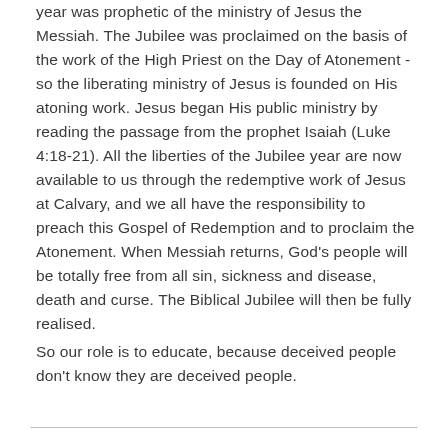year was prophetic of the ministry of Jesus the Messiah. The Jubilee was proclaimed on the basis of the work of the High Priest on the Day of Atonement - so the liberating ministry of Jesus is founded on His atoning work. Jesus began His public ministry by reading the passage from the prophet Isaiah (Luke 4:18-21). All the liberties of the Jubilee year are now available to us through the redemptive work of Jesus at Calvary, and we all have the responsibility to preach this Gospel of Redemption and to proclaim the Atonement. When Messiah returns, God's people will be totally free from all sin, sickness and disease, death and curse. The Biblical Jubilee will then be fully realised.
So our role is to educate, because deceived people don't know they are deceived people.